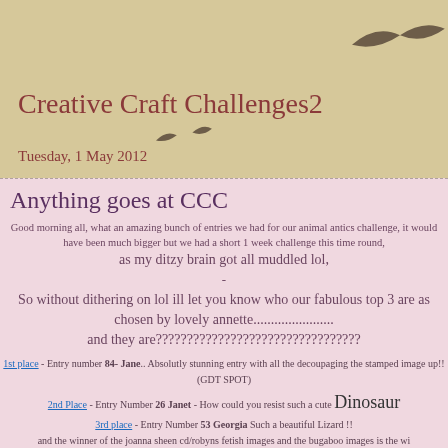Creative Craft Challenges2
Tuesday, 1 May 2012
Anything goes at CCC
Good morning all, what an amazing bunch of entries we had for our animal antics challenge, it would have been much bigger but we had a short 1 week challenge this time round, as my ditzy brain got all muddled lol, - So without dithering on lol ill let you know who our fabulous top 3 are as chosen by lovely annette....................... and they are????????????????????????????????
1st place - Entry number 84- Jane.. Absolutly stunning entry with all the decoupaging the stamped image up!! (GDT SPOT)
2nd Place - Entry Number 26 Janet - How could you resist such a cute Dinosaur
3rd place - Entry Number 53 Georgia Such a beautiful Lizard !!
and the winner of the joanna sheen cd/robyns fetish images and the bugaboo images is the wi